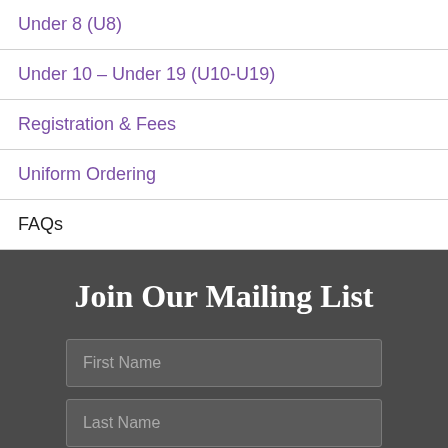Under 8 (U8)
Under 10 – Under 19 (U10-U19)
Registration & Fees
Uniform Ordering
FAQs
Join Our Mailing List
First Name
Last Name
Email Address